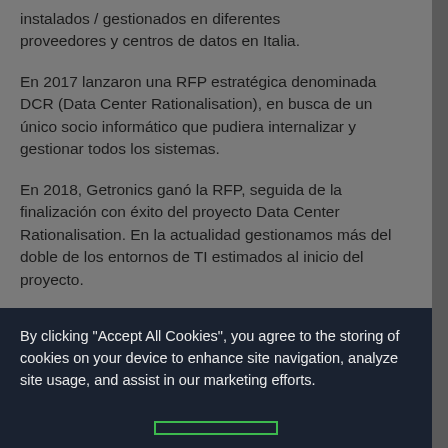instalados / gestionados en diferentes proveedores y centros de datos en Italia.
En 2017 lanzaron una RFP estratégica denominada DCR (Data Center Rationalisation), en busca de un único socio informático que pudiera internalizar y gestionar todos los sistemas.
En 2018, Getronics ganó la RFP, seguida de la finalización con éxito del proyecto Data Center Rationalisation. En la actualidad gestionamos más del doble de los entornos de TI estimados al inicio del proyecto.
By clicking "Accept All Cookies", you agree to the storing of cookies on your device to enhance site navigation, analyze site usage, and assist in our marketing efforts.